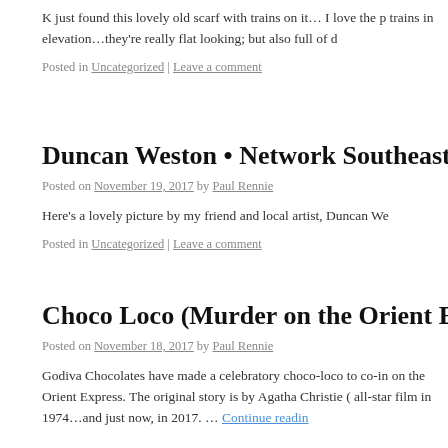K just found this lovely old scarf with trains on it… I love the p trains in elevation…they're really flat looking; but also full of d
Posted in Uncategorized | Leave a comment
Duncan Weston • Network Southeast • Fo
Posted on November 19, 2017 by Paul Rennie
Here's a lovely picture by my friend and local artist, Duncan We
Posted in Uncategorized | Leave a comment
Choco Loco (Murder on the Orient Expres
Posted on November 18, 2017 by Paul Rennie
Godiva Chocolates have made a celebratory choco-loco to co-in on the Orient Express. The original story is by Agatha Christie ( all-star film in 1974…and just now, in 2017. … Continue reading